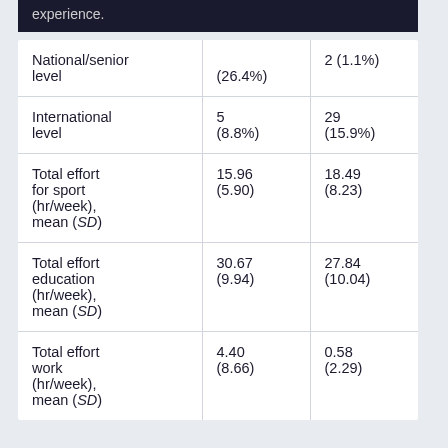|  | Col1 | Col2 |
| --- | --- | --- |
| National/senior level | (26.4%) | 2 (1.1%) |
| International level | 5
(8.8%) | 29
(15.9%) |
| Total effort for sport (hr/week), mean (SD) | 15.96
(5.90) | 18.49
(8.23) |
| Total effort education (hr/week), mean (SD) | 30.67
(9.94) | 27.84
(10.04) |
| Total effort work (hr/week), mean (SD) | 4.40
(8.66) | 0.58
(2.29) |